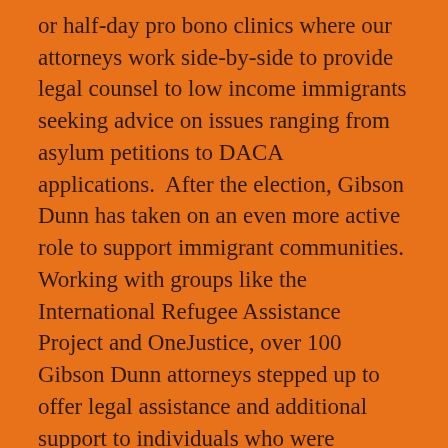or half-day pro bono clinics where our attorneys work side-by-side to provide legal counsel to low income immigrants seeking advice on issues ranging from asylum petitions to DACA applications.  After the election, Gibson Dunn has taken on an even more active role to support immigrant communities.  Working with groups like the International Refugee Assistance Project and OneJustice, over 100 Gibson Dunn attorneys stepped up to offer legal assistance and additional support to individuals who were detained upon entry into the United States pursuant to the Executive Order.  We had partners and associates on the ground working at Dallas Fort-Worth, Dulles, JFK, LAX, Newark, Oakland, and SFO and provided direct legal assistance to detained individuals and their families, including drafting habeas petitions, communicating with immigration officials, and advocating